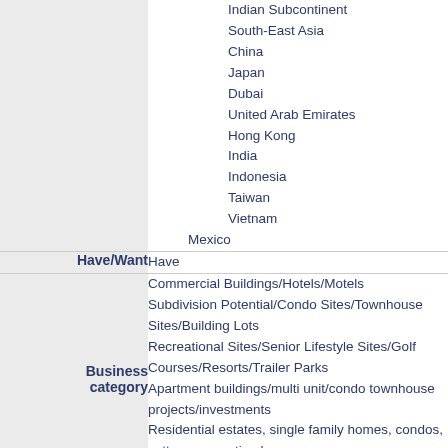Indian Subcontinent
South-East Asia
China
Japan
Dubai
United Arab Emirates
Hong Kong
India
Indonesia
Taiwan
Vietnam
Mexico
Have/Want
Have
Business category
Commercial Buildings/Hotels/Motels
Subdivision Potential/Condo Sites/Townhouse Sites/Building Lots
Recreational Sites/Senior Lifestyle Sites/Golf Courses/Resorts/Trailer Parks
Apartment buildings/multi unit/condo townhouse projects/investments
Residential estates, single family homes, condos, cottages, vacation homes
Confidential